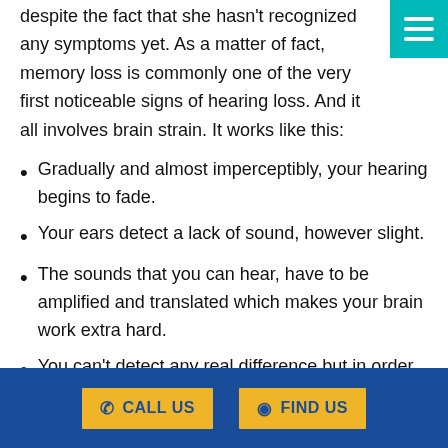despite the fact that she hasn't recognized any symptoms yet. As a matter of fact, memory loss is commonly one of the very first noticeable signs of hearing loss. And it all involves brain strain. It works like this:
Gradually and almost imperceptibly, your hearing begins to fade.
Your ears detect a lack of sound, however slight.
The sounds that you can hear, have to be amplified and translated which makes your brain work extra hard.
You can't detect any real difference but in order to comprehend sound your brain needs to work overtime.
CALL US   FIND US